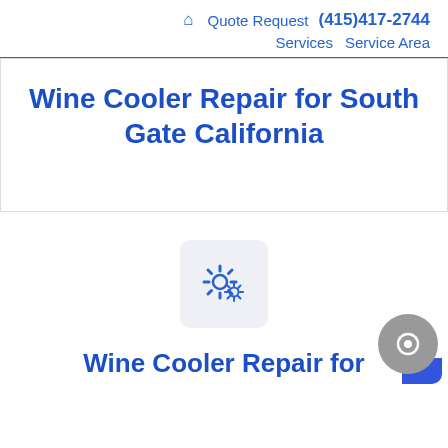🏠 Quote Request (415)417-2744 Services Service Area
Wine Cooler Repair for South Gate California
[Figure (illustration): Gear icons inside a rounded rectangle box, representing repair/service]
Wine Cooler Repair for